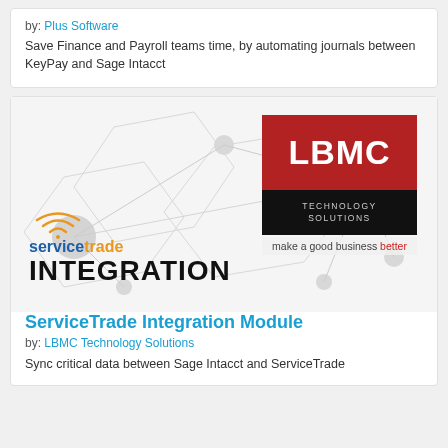by: Plus Software
Save Finance and Payroll teams time, by automating journals between KeyPay and Sage Intacct
[Figure (logo): ServiceTrade Integration Module product card with LBMC Technology Solutions logo (red and black box with 'LBMC' text and 'TECHNOLOGY SOLUTIONS', tagline 'make a good business better') and ServiceTrade logo with wifi icon and 'INTEGRATION' text on network background]
ServiceTrade Integration Module
by: LBMC Technology Solutions
Sync critical data between Sage Intacct and ServiceTrade